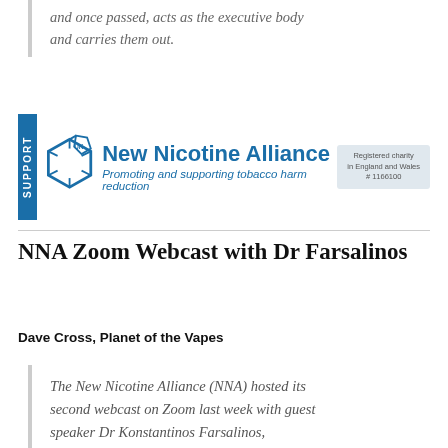and once passed, acts as the executive body and carries them out.
[Figure (logo): New Nicotine Alliance (NNA) UK support banner logo with molecule icon and tagline: Promoting and supporting tobacco harm reduction]
NNA Zoom Webcast with Dr Farsalinos
Dave Cross, Planet of the Vapes
The New Nicotine Alliance (NNA) hosted its second webcast on Zoom last week with guest speaker Dr Konstantinos Farsalinos,